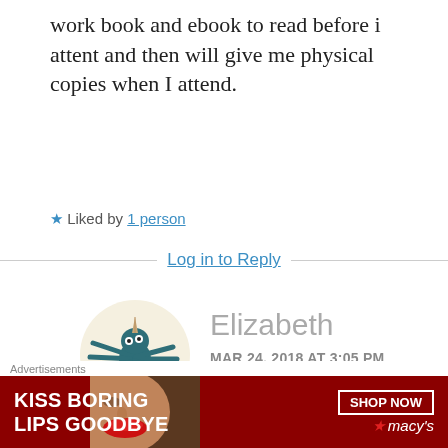work book and ebook to read before i attent and then will give me physical copies when I attend.
★ Liked by 1 person
Log in to Reply
[Figure (illustration): Circular avatar with a beige background showing a cartoon creature — a teal/dark blue spiky bird-like animal with red star-shaped flower, unicorn horn, and tree-like feet.]
Elizabeth
MAR 24, 2018 AT 3:05 PM
Edit. she sent me available dates in an email that
Advertisements
[Figure (photo): Advertisement banner: red background, woman's face/lips close-up. Text: KISS BORING LIPS GOODBYE. SHOP NOW button. Macy's star logo.]